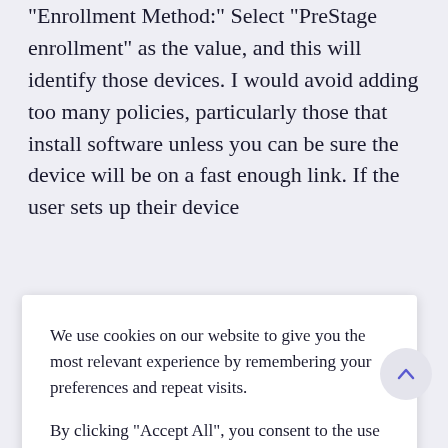"Enrollment Method:" Select "PreStage enrollment" as the value, and this will identify those devices. I would avoid adding too many policies, particularly those that install software unless you can be sure the device will be on a fast enough link. If the user sets up their device
he Adobe
We use cookies on our website to give you the most relevant experience by remembering your preferences and repeat visits.

By clicking "Accept All", you consent to the use of ALL the cookies. However, you may visit "Cookie Settings" to provide a controlled consent.
existing devices
a few Macs
just needed to
ice. There are,
poration
policies, b m
our perspective Apple have given us more options and